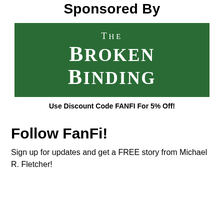Sponsored By
[Figure (logo): The Broken Binding logo — white serif text on dark green background reading 'THE BROKEN BINDING']
Use Discount Code FANFI For 5% Off!
Follow FanFi!
Sign up for updates and get a FREE story from Michael R. Fletcher!